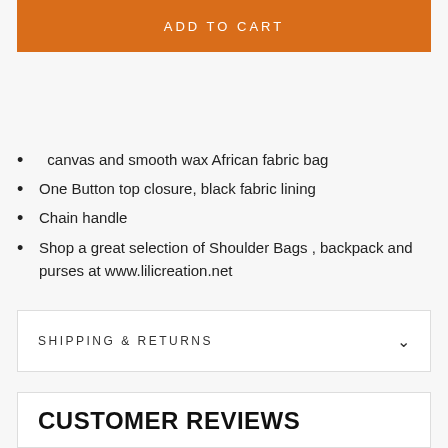ADD TO CART
canvas and smooth wax African fabric bag
One Button top closure, black fabric lining
Chain handle
Shop a great selection of Shoulder Bags , backpack and purses at www.lilicreation.net
SHIPPING & RETURNS
CUSTOMER REVIEWS